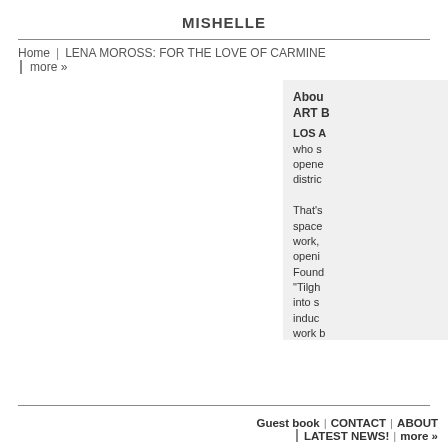MISHELLE
Home | LENA MOROSS: FOR THE LOVE OF CARMINE
| more »
About ART B
LOS A who s opene distric

That's space work, openi Foun "Tilgh into s induc work  betwe revea being
Guest book | CONTACT | ABOUT | LATEST NEWS! | more »